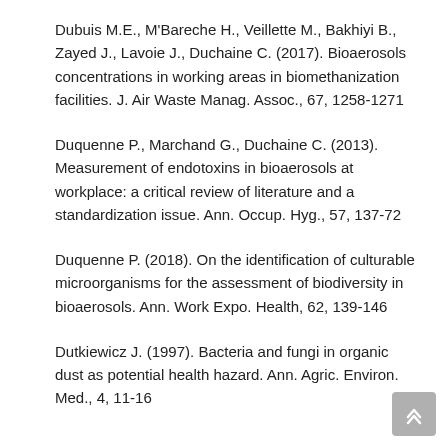Dubuis M.E., M'Bareche H., Veillette M., Bakhiyi B., Zayed J., Lavoie J., Duchaine C. (2017). Bioaerosols concentrations in working areas in biomethanization facilities. J. Air Waste Manag. Assoc., 67, 1258-1271
Duquenne P., Marchand G., Duchaine C. (2013). Measurement of endotoxins in bioaerosols at workplace: a critical review of literature and a standardization issue. Ann. Occup. Hyg., 57, 137-72
Duquenne P. (2018). On the identification of culturable microorganisms for the assessment of biodiversity in bioaerosols. Ann. Work Expo. Health, 62, 139-146
Dutkiewicz J. (1997). Bacteria and fungi in organic dust as potential health hazard. Ann. Agric. Environ. Med., 4, 11-16